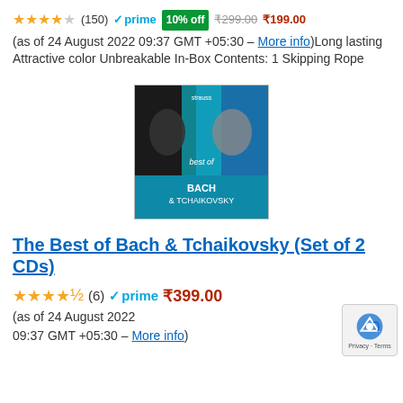★★★★☆ (150) ✓prime 10% off ₹299.00 ₹199.00 (as of 24 August 2022 09:37 GMT +05:30 - More info) Long lasting Attractive color Unbreakable In-Box Contents: 1 Skipping Rope
[Figure (photo): CD cover for 'Best of Bach & Tchaikovsky' showing portraits of the two composers on a teal/dark background]
The Best of Bach & Tchaikovsky (Set of 2 CDs)
★★★★☆ (6) ✓prime ₹399.00 (as of 24 August 2022 09:37 GMT +05:30 - More info)